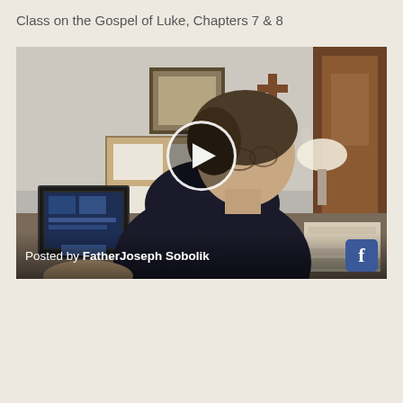Class on the Gospel of Luke, Chapters 7 & 8
[Figure (screenshot): Video thumbnail showing a man sitting at a desk in an office with a cross on the wall, a bulletin board, and a computer. A circular play button overlay is in the center. Text at bottom reads 'Posted by FatherJoseph Sobolik' with a Facebook icon.]